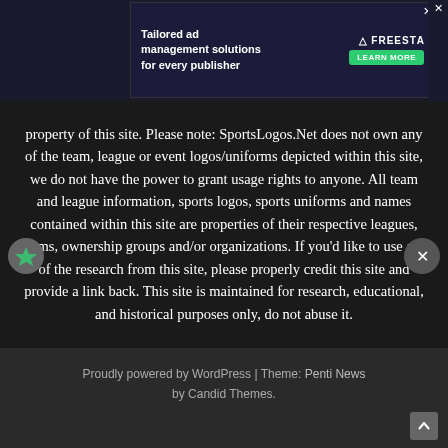[Figure (screenshot): Advertisement banner for Freestar ad management solutions with dark background, green checkmark graphic, and 'LEARN MORE' button]
property of this site. Please note: SportsLogos.Net does not own any of the team, league or event logos/uniforms depicted within this site, we do not have the power to grant usage rights to anyone. All team and league information, sports logos, sports uniforms and names contained within this site are properties of their respective leagues, teams, ownership groups and/or organizations. If you'd like to use any of the research from this site, please properly credit this site and provide a link back. This site is maintained for research, educational, and historical purposes only, do not abuse it.
Proudly powered by WordPress | Theme: Penti News by Candid Themes.